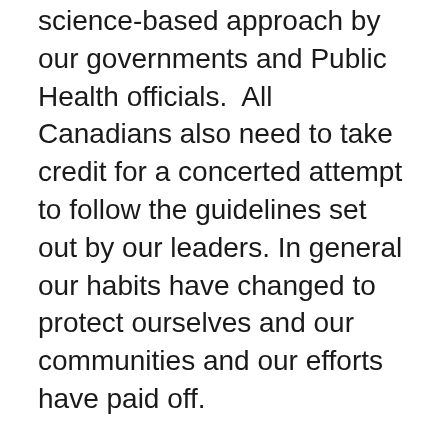science-based approach by our governments and Public Health officials.  All Canadians also need to take credit for a concerted attempt to follow the guidelines set out by our leaders. In general our habits have changed to protect ourselves and our communities and our efforts have paid off.
It would be nice if this would just go away all together.  But it won't. At least, not soon.
We are going to see clusters of COVID-19 outbreaks occur in neighbourhoods, communities and provinces over the next